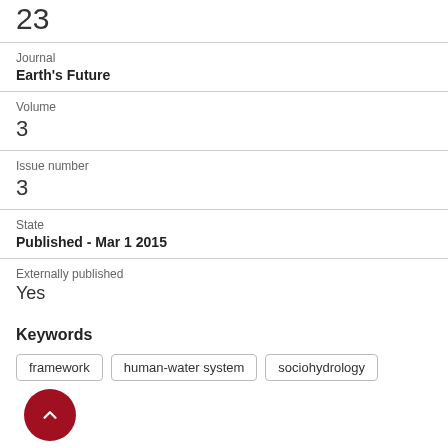23
Journal
Earth's Future
Volume
3
Issue number
3
State
Published - Mar 1 2015
Externally published
Yes
Keywords
framework
human-water system
sociohydrology
ASJC Scopus subject areas